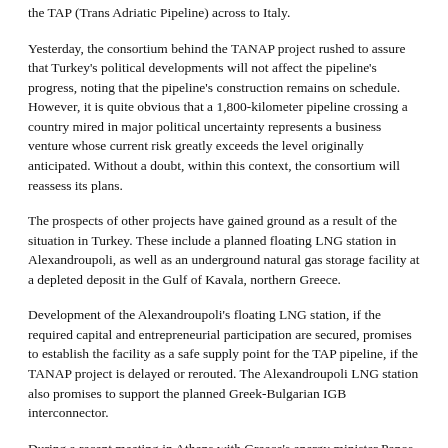the TAP (Trans Adriatic Pipeline) across to Italy.
Yesterday, the consortium behind the TANAP project rushed to assure that Turkey's political developments will not affect the pipeline's progress, noting that the pipeline's construction remains on schedule. However, it is quite obvious that a 1,800-kilometer pipeline crossing a country mired in major political uncertainty represents a business venture whose current risk greatly exceeds the level originally anticipated. Without a doubt, within this context, the consortium will reassess its plans.
The prospects of other projects have gained ground as a result of the situation in Turkey. These include a planned floating LNG station in Alexandroupoli, as well as an underground natural gas storage facility at a depleted deposit in the Gulf of Kavala, northern Greece.
Development of the Alexandroupoli's floating LNG station, if the required capital and entrepreneurial participation are secured, promises to establish the facility as a safe supply point for the TAP pipeline, if the TANAP project is delayed or rerouted. The Alexandroupoli LNG station also promises to support the planned Greek-Bulgarian IGB interconnector.
During a recent meeting in Athens with Greece's energy minister Panos Skourletis, officials of US energy company Cheniere, primarily active in LNG-related businesses, declared, clearer than ever before, the company's interest to take part in the development of the Alexandroupoli LNG station.
Gastrade, a Copelouzos corporate group company and fundemantal proponent behind the investment plan for the Alexandroupoli station, plans to